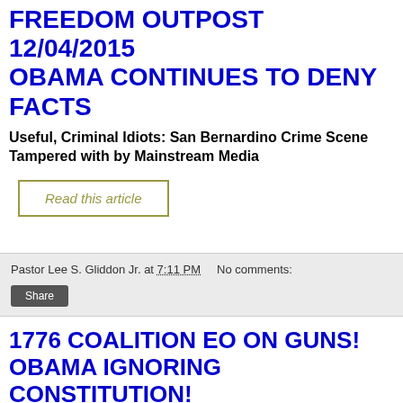FREEDOM OUTPOST 12/04/2015 OBAMA CONTINUES TO DENY FACTS
Useful, Criminal Idiots: San Bernardino Crime Scene Tampered with by Mainstream Media
Read this article
Pastor Lee S. Gliddon Jr. at 7:11 PM   No comments:
Share
1776 COALITION EO ON GUNS! OBAMA IGNORING CONSTITUTION!